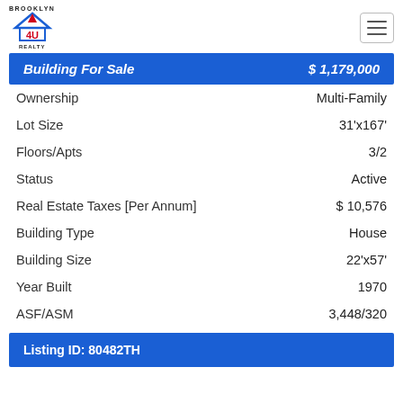Brooklyn 4U Realty
Building For Sale  $ 1,179,000
| Property | Value |
| --- | --- |
| Ownership | Multi-Family |
| Lot Size | 31'x167' |
| Floors/Apts | 3/2 |
| Status | Active |
| Real Estate Taxes [Per Annum] | $ 10,576 |
| Building Type | House |
| Building Size | 22'x57' |
| Year Built | 1970 |
| ASF/ASM | 3,448/320 |
Listing ID: 80482TH